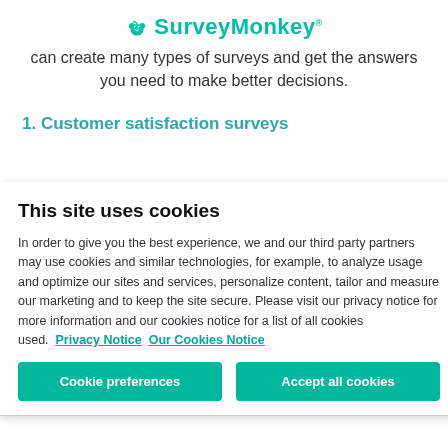SurveyMonkey
can create many types of surveys and get the answers you need to make better decisions.
1. Customer satisfaction surveys
This site uses cookies
In order to give you the best experience, we and our third party partners may use cookies and similar technologies, for example, to analyze usage and optimize our sites and services, personalize content, tailor and measure our marketing and to keep the site secure. Please visit our privacy notice for more information and our cookies notice for a list of all cookies used.  Privacy Notice  Our Cookies Notice
Cookie preferences   Accept all cookies